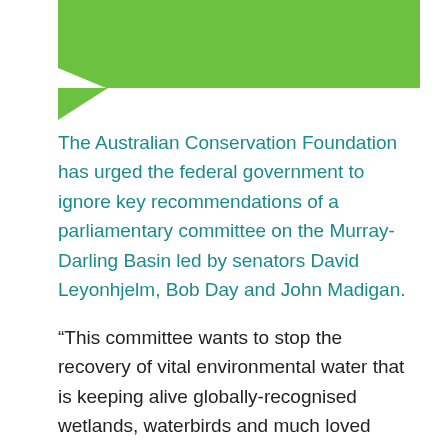[Figure (illustration): Green banner/header graphic at top of page with a green rectangle and a triangular point at the bottom-left corner]
The Australian Conservation Foundation has urged the federal government to ignore key recommendations of a parliamentary committee on the Murray-Darling Basin led by senators David Leyonhjelm, Bob Day and John Madigan.
“This committee wants to stop the recovery of vital environmental water that is keeping alive globally-recognised wetlands, waterbirds and much loved species of native fish,” said ACF’s Healthy Ecosystems campaign manager Jonathan La Nauze.